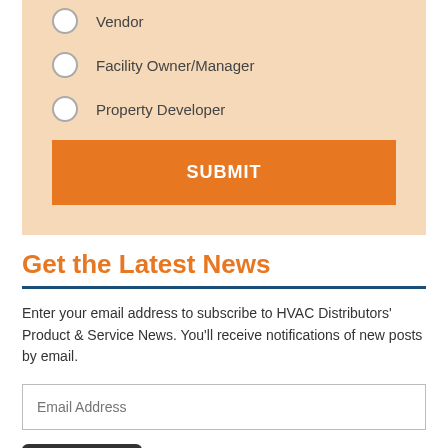Vendor
Facility Owner/Manager
Property Developer
SUBMIT
Get the Latest News
Enter your email address to subscribe to HVAC Distributors' Product & Service News. You'll receive notifications of new posts by email.
Email Address